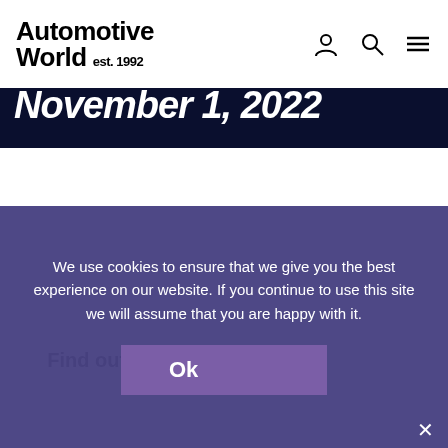Automotive World est. 1992
November 1, 2022
Our Future Mobility Europe online event brings together more than 1,000 stakeholders to discuss the business models, technologies and trends shaping the future of mobility.
Find out more
Future Mobility North America
We use cookies to ensure that we give you the best experience on our website. If you continue to use this site we will assume that you are happy with it.
Ok